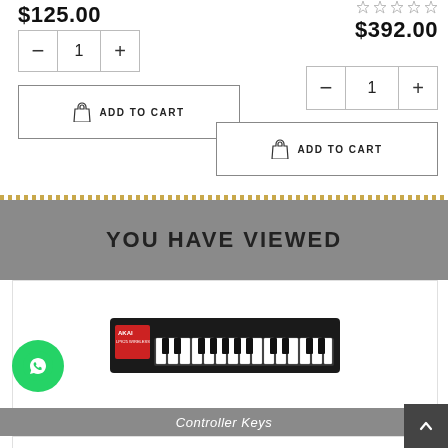$125.00
[Figure (screenshot): Quantity selector with minus, 1, plus buttons — left product]
[Figure (screenshot): Add to Cart button with shopping bag icon — left product]
[Figure (screenshot): Star rating (empty stars) and price $392.00 — right product]
[Figure (screenshot): Quantity selector with minus, 1, plus buttons — right product]
[Figure (screenshot): Add to Cart button with shopping bag icon — right product]
YOU HAVE VIEWED
[Figure (photo): AKAI LPK25 Wireless MIDI keyboard controller product image on white background]
Controller Keys
[Figure (photo): Second AKAI keyboard product image, partially visible]
[Figure (screenshot): WhatsApp floating button (green circle with phone icon)]
[Figure (screenshot): Scroll to top button (dark arrow up)]